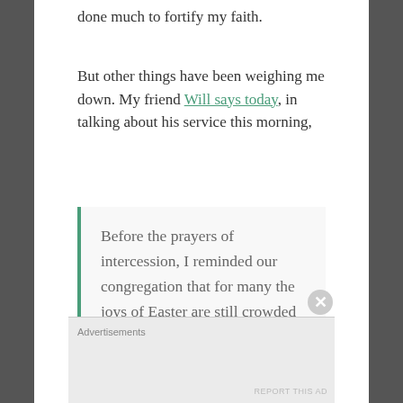done much to fortify my faith.
But other things have been weighing me down. My friend Will says today, in talking about his service this morning,
Before the prayers of intercession, I reminded our congregation that for many the joys of Easter are still crowded out by their own personal Good Fridays. I know I have friends who will this week spend more time
Advertisements
REPORT THIS AD